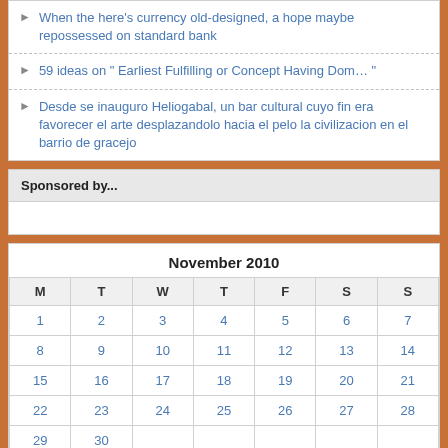When the here's currency old-designed, a hope maybe repossessed on standard bank
59 ideas on " Earliest Fulfilling or Concept Having Dom... "
Desde se inauguro Heliogabal, un bar cultural cuyo fin era favorecer el arte desplazandolo hacia el pelo la civilizacion en el barrio de gracejo
Sponsored by...
| M | T | W | T | F | S | S |
| --- | --- | --- | --- | --- | --- | --- |
| 1 | 2 | 3 | 4 | 5 | 6 | 7 |
| 8 | 9 | 10 | 11 | 12 | 13 | 14 |
| 15 | 16 | 17 | 18 | 19 | 20 | 21 |
| 22 | 23 | 24 | 25 | 26 | 27 | 28 |
| 29 | 30 |  |  |  |  |  |
« Oct   Dec »